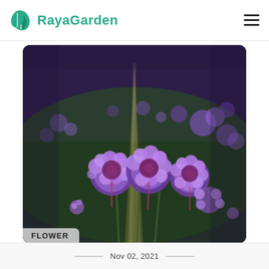RayaGarden
[Figure (photo): Close-up photograph of purple verbena flowers in bloom, with a field of more purple flowers in the soft-focus background and a golden light ray visible in the upper center. A tag overlay in the lower left reads FLOWER.]
Nov 02, 2021